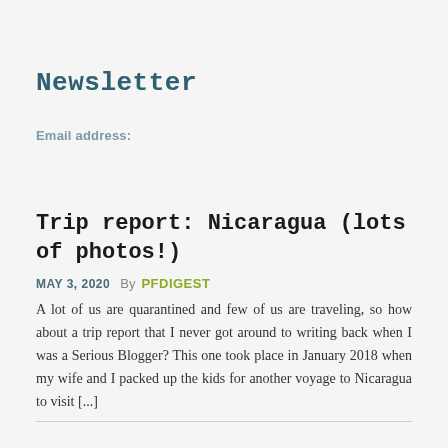Newsletter
Email address:
Trip report: Nicaragua (lots of photos!)
MAY 3, 2020   By PFDIGEST
A lot of us are quarantined and few of us are traveling, so how about a trip report that I never got around to writing back when I was a Serious Blogger? This one took place in January 2018 when my wife and I packed up the kids for another voyage to Nicaragua to visit [...]